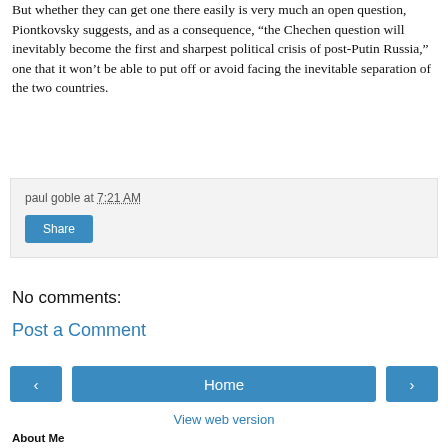But whether they can get one there easily is very much an open question, Piontkovsky suggests, and as a consequence, “the Chechen question will inevitably become the first and sharpest political crisis of post-Putin Russia,” one that it won’t be able to put off or avoid facing the inevitable separation of the two countries.
paul goble at 7:21 AM
Share
No comments:
Post a Comment
Home
View web version
About Me